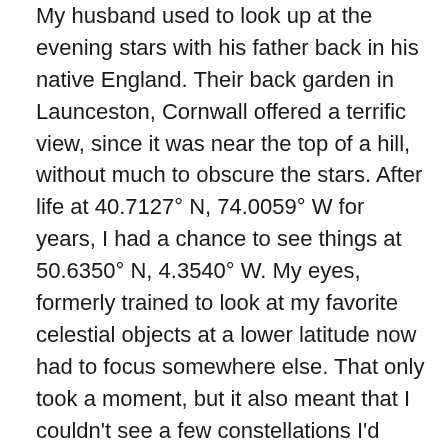My husband used to look up at the evening stars with his father back in his native England.  Their back garden in Launceston, Cornwall offered a terrific view, since it was near the top of a hill, without much to obscure the stars.  After life at 40.7127° N, 74.0059° W for years, I had a chance to see things at 50.6350° N, 4.3540° W.  My eyes, formerly trained to look at my favorite celestial objects at a lower latitude now had to focus somewhere else.  That only took a moment, but it also meant that I couldn't see a few constellations I'd grown used to seeing skirting the horizon at my latitude.
It's fair to say Andrew's into this scope just as much as I am.  He's a photographer and this Celestron has the capability for nighttime picture taking.  I personally can't wait to get the thing outside and pointed upwards.  Truth be told, I don't care where I look.  There's sure to be